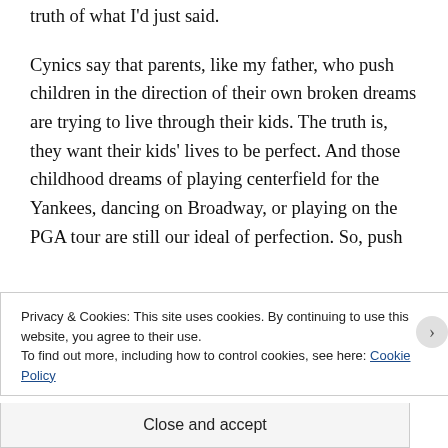truth of what I'd just said.
Cynics say that parents, like my father, who push children in the direction of their own broken dreams are trying to live through their kids. The truth is, they want their kids' lives to be perfect. And those childhood dreams of playing centerfield for the Yankees, dancing on Broadway, or playing on the PGA tour are still our ideal of perfection. So, push
Privacy & Cookies: This site uses cookies. By continuing to use this website, you agree to their use.
To find out more, including how to control cookies, see here: Cookie Policy
Close and accept